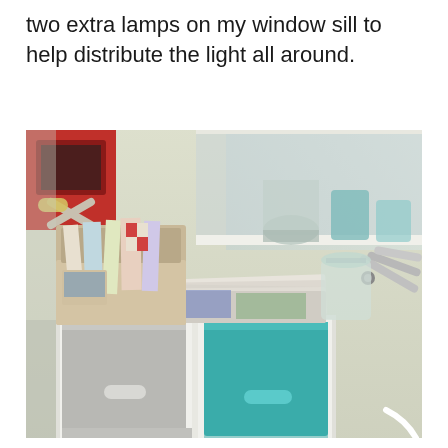two extra lamps on my window sill to help distribute the light all around.
[Figure (photo): A photograph of a white cubby shelf unit with two fabric storage bins (one gray, one teal/turquoise) placed against a wall near a window. On top of the shelf is a stack of papers/magazines and a beige cardboard organizer holding cards and papers. In the background on a window sill are glass jars and containers. A red device is visible in the upper left. A lamp arm is visible on the right side.]